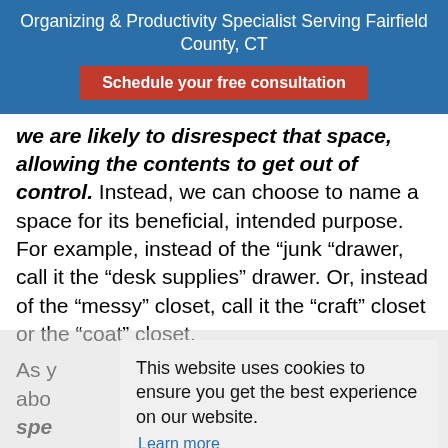Organizing & Productivity Specialist Serving Fairfield County, CT
Schedule your free consultation
we are likely to disrespect that space, allowing the contents to get out of control. Instead, we can choose to name a space for its beneficial, intended purpose. For example, instead of the “junk “drawer, call it the “desk supplies” drawer. Or, instead of the “messy” closet, call it the “craft” closet or the “coat” closet.
As y... spe... are... cha... corr... momentum in the direction you wish to go.
This website uses cookies to ensure you get the best experience on our website. Learn more Got it